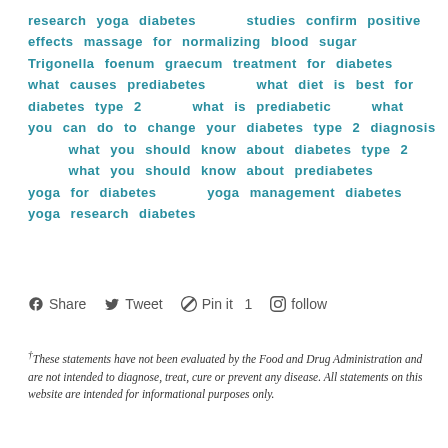research yoga diabetes    studies confirm positive effects massage for normalizing blood sugar   Trigonella foenum graecum treatment for diabetes    what causes prediabetes    what diet is best for diabetes type 2    what is prediabetic   what you can do to change your diabetes type 2 diagnosis    what you should know about diabetes type 2    what you should know about prediabetes   yoga for diabetes    yoga management diabetes   yoga research diabetes
f Share  🐦 Tweet  Pin it  1  follow
†These statements have not been evaluated by the Food and Drug Administration and are not intended to diagnose, treat, cure or prevent any disease. All statements on this website are intended for informational purposes only.